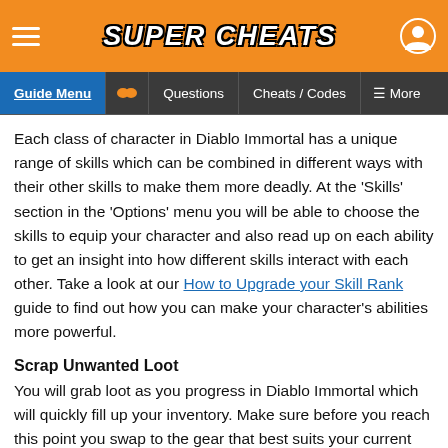Super Cheats
Guide Menu | Questions | Cheats / Codes | More
Each class of character in Diablo Immortal has a unique range of skills which can be combined in different ways with their other skills to make them more deadly. At the 'Skills' section in the 'Options' menu you will be able to choose the skills to equip your character and also read up on each ability to get an insight into how different skills interact with each other. Take a look at our How to Upgrade your Skill Rank guide to find out how you can make your character's abilities more powerful.
Scrap Unwanted Loot
You will grab loot as you progress in Diablo Immortal which will quickly fill up your inventory. Make sure before you reach this point you swap to the gear that best suits your current build and scrap what you don't want. When you scrap gear you will receive